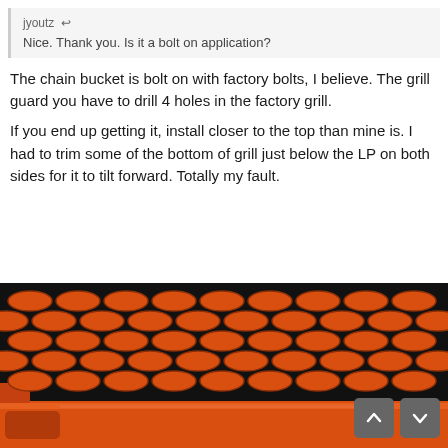jyoutz ... ↩
Nice. Thank you. Is it a bolt on application?
The chain bucket is bolt on with factory bolts, I believe. The grill guard you have to drill 4 holes in the factory grill.
If you end up getting it, install closer to the top than mine is. I had to trim some of the bottom of grill just below the LP on both sides for it to tilt forward. Totally my fault.
[Figure (photo): Close-up photo of an orange metal mesh grill guard with diamond-pattern expanded metal, mounted on a vehicle. The orange lattice structure is visible against a dark background.]